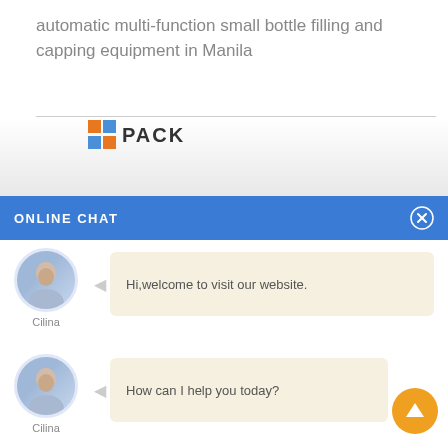automatic multi-function small bottle filling and capping equipment in Manila
[Figure (logo): BN PACK logo with orange and blue squares and bold PACK text]
ONLINE CHAT
Hi,welcome to visit our website.
Cilina
How can I help you today?
Cilina